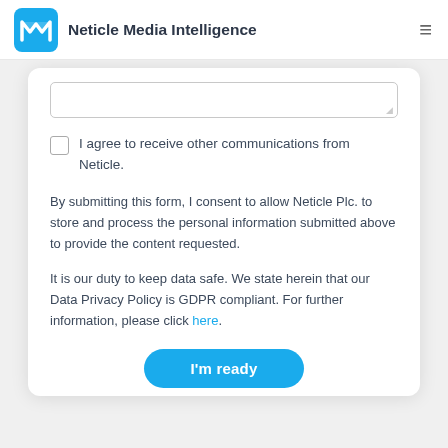Neticle Media Intelligence
[Figure (screenshot): Textarea input box, partially visible at top of form card]
I agree to receive other communications from Neticle.
By submitting this form, I consent to allow Neticle Plc. to store and process the personal information submitted above to provide the content requested.
It is our duty to keep data safe. We state herein that our Data Privacy Policy is GDPR compliant. For further information, please click here.
I'm ready